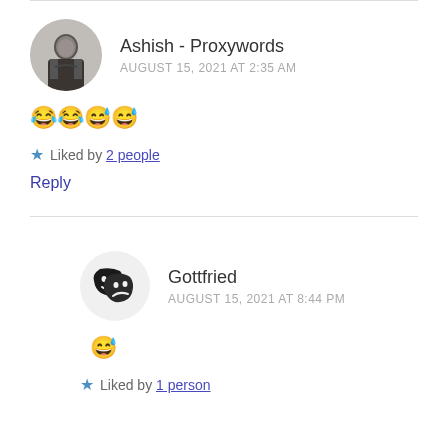Ashish - Proxywords
AUGUST 15, 2021 AT 2:35 AM
😂😂😅😅
★ Liked by 2 people
Reply
Gottfried
AUGUST 15, 2021 AT 8:44 PM
😅
★ Liked by 1 person